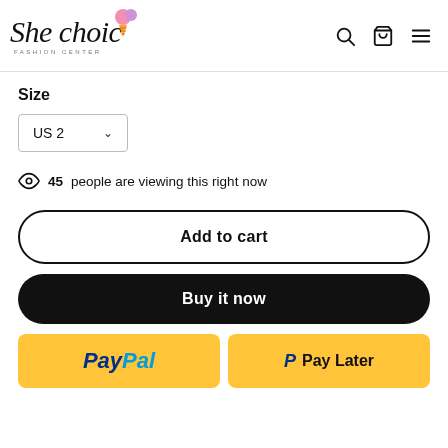[Figure (logo): She Choic fashion center logo with decorative ice cream cone graphic in pink and purple]
Size
US 2 (dropdown selector)
45 people are viewing this right now
Add to cart
Buy it now
PayPal
Pay Later